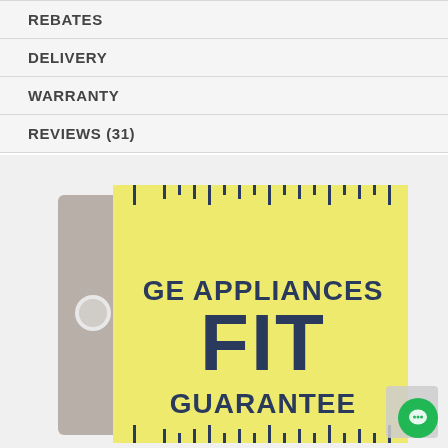REBATES
DELIVERY
WARRANTY
REVIEWS (31)
[Figure (illustration): GE Appliances FIT Guarantee ruler/tag graphic with yellow background, bold dark blue text reading 'GE APPLIANCES FIT GUARANTEE', styled as a ruler with tick marks along the top and bottom edges, and a gray tag shape on the left side with a circular hole punch.]